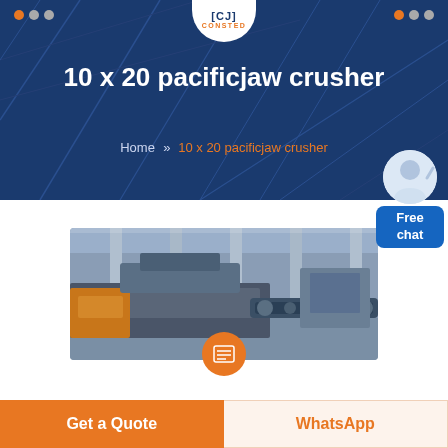[Figure (screenshot): Website header banner with dark blue background and geometric pattern. Shows CONSTED logo at top center, decorative dots at top left and right corners, bold white title '10 x 20 pacificjaw crusher', and breadcrumb navigation. A customer service representative avatar with 'Free chat' button appears at right side.]
10 x 20 pacificjaw crusher
Home >> 10 x 20 pacificjaw crusher
[Figure (photo): Industrial factory floor showing heavy machinery, specifically jaw crusher equipment, with concrete pillars and large warehouse space visible in background.]
Get a Quote
WhatsApp